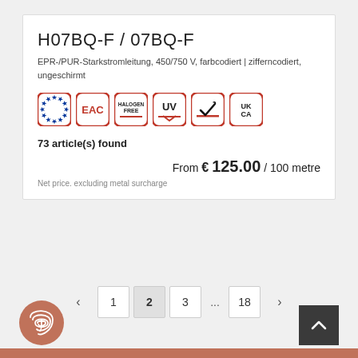H07BQ-F / 07BQ-F
EPR-/PUR-Starkstromleitung, 450/750 V, farbcodiert | zifferncodiert, ungeschirmt
[Figure (logo): Six certification/quality badges: EU stars, EAC, Halogen Free, UV, bird-in-square mark, UKCA]
73 article(s) found
From € 125.00 / 100 metre
Net price. excluding metal surcharge
Pagination: ‹ 1 2 3 ... 18 ›